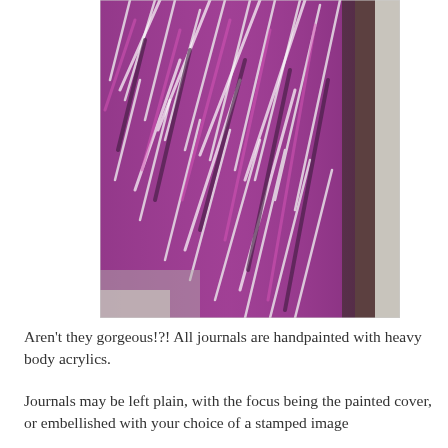[Figure (photo): Close-up photograph of a handpainted journal cover with heavy body acrylics in shades of purple, pink, white, and dark grey/black, showing thick textured brushstrokes. The painting is viewed at an angle revealing the side edge of the journal against a light grey background.]
Aren't they gorgeous!?! All journals are handpainted with heavy body acrylics.
Journals may be left plain, with the focus being the painted cover, or embellished with your choice of a stamped image